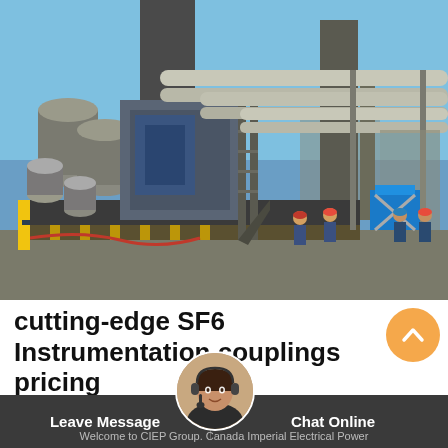[Figure (photo): Industrial facility photo showing a large electrical transformer or SF6 equipment with multiple cylindrical tanks, pipes, and metal structures. Several workers in hard hats are visible in the background near a blue scissor lift. Industrial smokestacks rise in the background against a clear blue sky.]
cutting-edge SF6 Instrumentation couplings pricing
[Figure (illustration): Orange circular chat button with a white chevron/arrow pointing up.]
[Figure (photo): Customer service agent woman with headset, circular profile image.]
Leave Message
Chat Online
Welcome to CIEP Group. Canada Imperial Electrical Power